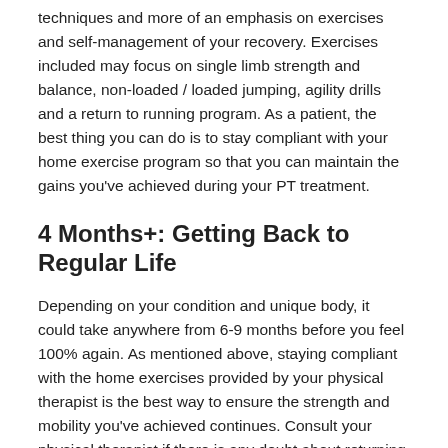techniques and more of an emphasis on exercises and self-management of your recovery. Exercises included may focus on single limb strength and balance, non-loaded / loaded jumping, agility drills and a return to running program. As a patient, the best thing you can do is to stay compliant with your home exercise program so that you can maintain the gains you've achieved during your PT treatment.
4 Months+: Getting Back to Regular Life
Depending on your condition and unique body, it could take anywhere from 6-9 months before you feel 100% again. As mentioned above, staying compliant with the home exercises provided by your physical therapist is the best way to ensure the strength and mobility you've achieved continues. Consult your physical therapist if there is any doubt about returning to a certain activity or if you have questions with your home exercises.